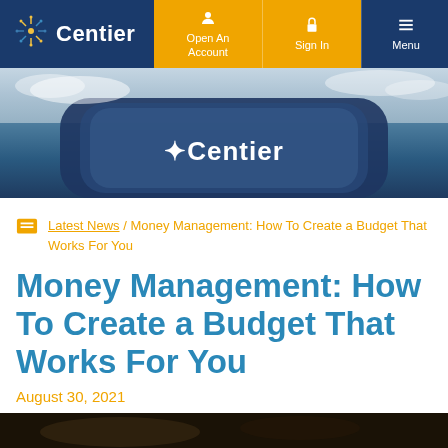Centier | Open An Account | Sign In | Menu
[Figure (photo): Centier Bank building exterior with large curved sign reading Centier, viewed from outside at an angle, daytime with cloudy sky]
Latest News / Money Management: How To Create a Budget That Works For You
Money Management: How To Create a Budget That Works For You
August 30, 2021
[Figure (photo): Partial bottom strip of a photo, appears to be a dark indoor or outdoor scene]